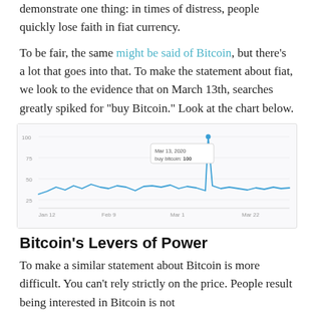demonstrate one thing: in times of distress, people quickly lose faith in fiat currency.
To be fair, the same might be said of Bitcoin, but there's a lot that goes into that. To make the statement about fiat, we look to the evidence that on March 13th, searches greatly spiked for "buy Bitcoin." Look at the chart below.
[Figure (continuous-plot): Google Trends line chart showing search interest for 'buy Bitcoin' over time from approximately Jan 12 to Mar 22, 2020. A sharp spike appears at Mar 13, 2020 reaching value 100, with a tooltip showing 'Mar 13, 2020 / buy bitcoin: 100'. The rest of the line shows relatively low and fluctuating values.]
Bitcoin's Levers of Power
To make a similar statement about Bitcoin is more difficult. You can't rely strictly on the price. People result being interested in Bitcoin is not...